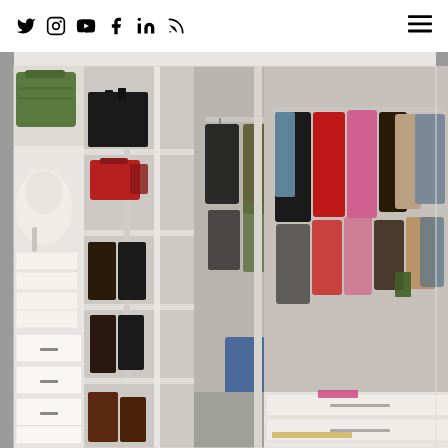Social media icons (Twitter, Instagram, YouTube, Facebook, LinkedIn, RSS) and hamburger menu
[Figure (photo): A well-organized walk-in closet with white shelving units. Left side shows stacked shoe boxes with drawers, shelves holding boots and shoes, and a green bag. Center section has a hanging rod with colorful clothes (pink, olive, denim), and boot shelves. Right section displays hanging garments including leather jackets, red, pink, blue, and beige coats/jackets on a rod, with white drawers below and accessories on the floor.]